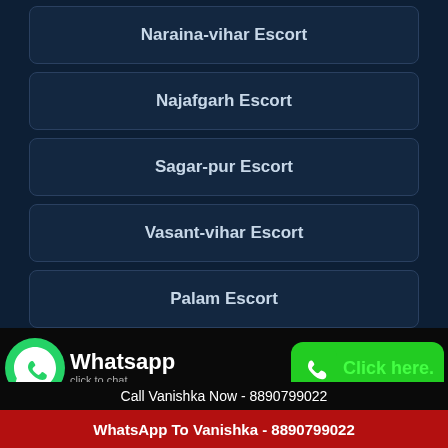Naraina-vihar Escort
Najafgarh Escort
Sagar-pur Escort
Vasant-vihar Escort
Palam Escort
Khanpur Escort
Malviya-nagar Escort
[Figure (screenshot): WhatsApp click to chat button with phone icon and Call button with green background showing Click here.]
Call Vanishka Now - 8890799022
WhatsApp To Vanishka - 8890799022